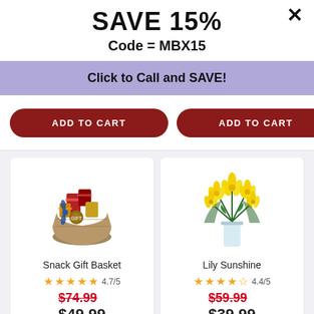SAVE 15%
Code = MBX15
Click to Call and SAVE!
ADD TO CART
ADD TO CART
[Figure (photo): Snack Gift Basket with chocolates, red packaging and a blue bow in a wicker basket]
Snack Gift Basket
4.7/5
$74.99 $49.99
[Figure (photo): Lily Sunshine - a bouquet of bright yellow lilies in a clear glass vase]
Lily Sunshine
4.4/5
$59.99 $39.99